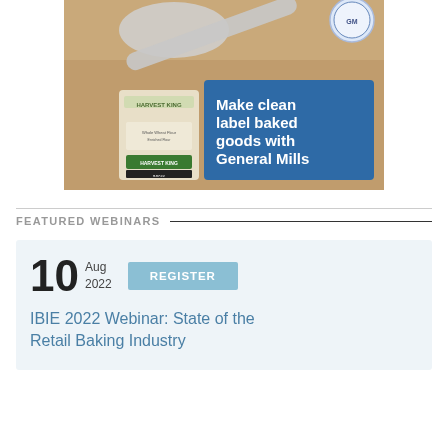[Figure (photo): Advertisement photo showing flour, a metal scoop, and a Harvest King flour bag, with a blue overlay box reading 'Make clean label baked goods with General Mills']
FEATURED WEBINARS
10 Aug 2022 REGISTER — IBIE 2022 Webinar: State of the Retail Baking Industry